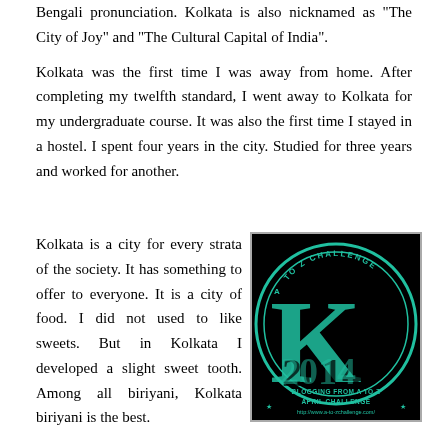Bengali pronunciation. Kolkata is also nicknamed as "The City of Joy" and "The Cultural Capital of India".
Kolkata was the first time I was away from home. After completing my twelfth standard, I went away to Kolkata for my undergraduate course. It was also the first time I stayed in a hostel. I spent four years in the city. Studied for three years and worked for another.
Kolkata is a city for every strata of the society. It has something to offer to everyone. It is a city of food. I did not used to like sweets. But in Kolkata I developed a slight sweet tooth. Among all biriyani, Kolkata biriyani is the best.
[Figure (logo): A to Z Challenge blogging badge with a large teal letter K on a black background, circular coin-like design with text 'BLOGGING FROM A TO Z APRIL CHALLENGE' and URL http://www.a-to-zchallenge.com/]